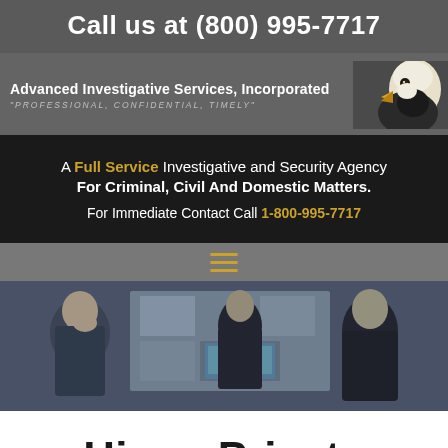Call us at (800) 995-7717
[Figure (logo): Advanced Investigative Services, Incorporated logo with bald eagle image and tagline 'PROFESSIONAL, CONFIDENTIAL, TIMELY']
A Full Service Investigative and Security Agency For Criminal, Civil And Domestic Matters. For Immediate Contact Call 1-800-995-7717
[Figure (photo): Three people in dark clothing looking at investigation materials on a board, blurred/muted tones]
Hire a Private Investigator in Wayne